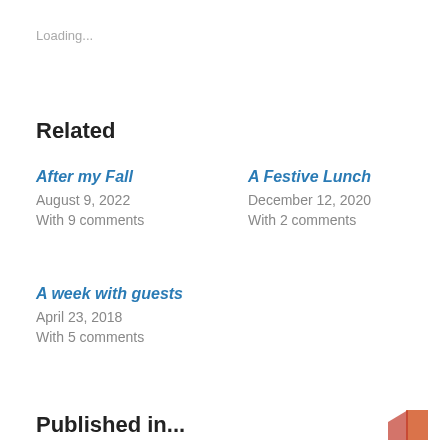Loading...
Related
After my Fall
August 9, 2022
With 9 comments
A Festive Lunch
December 12, 2020
With 2 comments
A week with guests
April 23, 2018
With 5 comments
Published in...